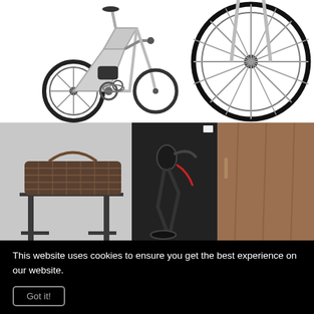[Figure (photo): Two folding bicycles shown partially — left bike shows frame, gears, rear wheel detail on white background; right bike shows front wheel with spokes on white background]
[Figure (photo): Photo of a folding electric bike stored upright in a narrow wooden cabinet/wardrobe on the right, and a wicker basket on a metal stand on the left, against a light grey wall]
This website uses cookies to ensure you get the best experience on our website.
Got it!